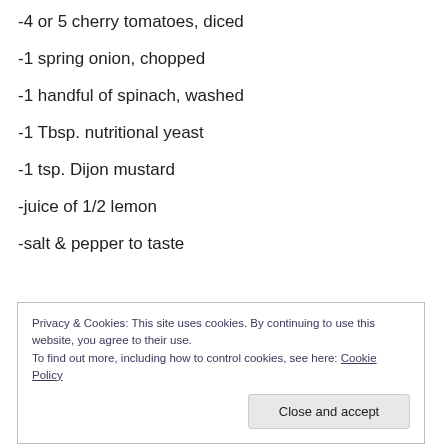-4 or 5 cherry tomatoes, diced
-1 spring onion, chopped
-1 handful of spinach, washed
-1 Tbsp. nutritional yeast
-1 tsp. Dijon mustard
-juice of 1/2 lemon
-salt & pepper to taste
Privacy & Cookies: This site uses cookies. By continuing to use this website, you agree to their use. To find out more, including how to control cookies, see here: Cookie Policy